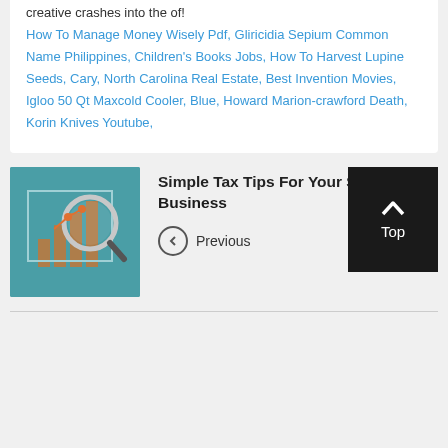...from this dialog is far more complex and creative crashes into the of!
How To Manage Money Wisely Pdf, Gliricidia Sepium Common Name Philippines, Children's Books Jobs, How To Harvest Lupine Seeds, Cary, North Carolina Real Estate, Best Invention Movies, Igloo 50 Qt Maxcold Cooler, Blue, Howard Marion-crawford Death, Korin Knives Youtube,
[Figure (illustration): Teal/green square thumbnail with a magnifying glass icon over a bar chart graphic]
Simple Tax Tips For Your Small Business
← Previous